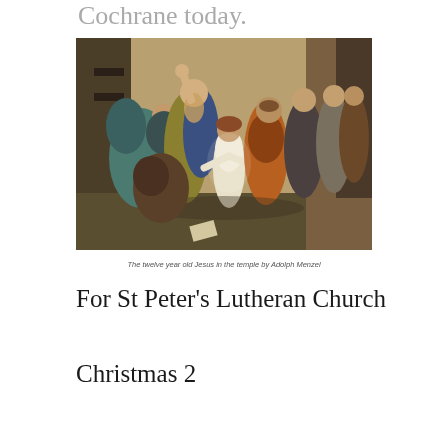Cochrane today.
[Figure (photo): Painting of the twelve year old Jesus in the temple by Adolph Menzel, showing Jesus as a young child in white robes surrounded by robed figures of elders and religious leaders in a temple setting.]
The twelve year old Jesus in the temple by Adolph Menzel
For St Peter's Lutheran Church
Christmas 2